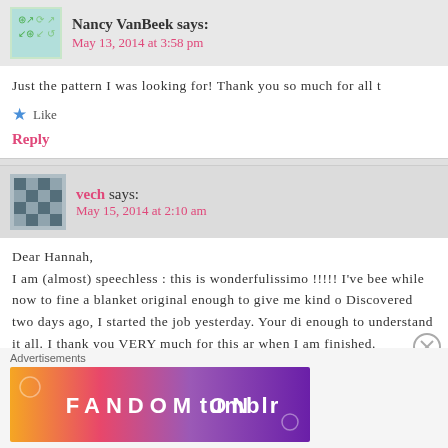Nancy VanBeek says: May 13, 2014 at 3:58 pm
Just the pattern I was looking for! Thank you so much for all t
Like
Reply
vech says: May 15, 2014 at 2:10 am
Dear Hannah,
I am (almost) speechless : this is wonderfulissimo !!!!! I've bee while now to fine a blanket original enough to give me kind o Discovered two days ago, I started the job yesterday. Your di enough to understand it all. I thank you VERY much for this ar when I am finished.
Many thanks again !!!!
[Figure (advertisement): Fandom on Tumblr advertisement banner with colorful gradient background (orange, pink, purple) and white decorative icons]
Advertisements